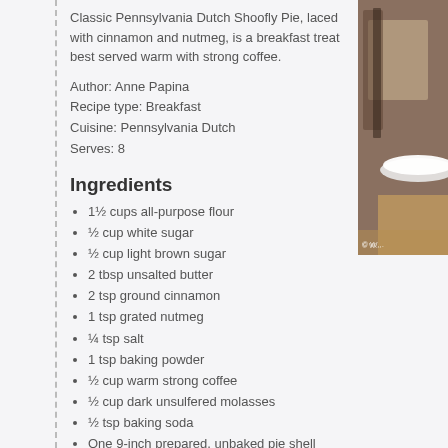Classic Pennsylvania Dutch Shoofly Pie, laced with cinnamon and nutmeg, is a breakfast treat best served warm with strong coffee.
Author: Anne Papina
Recipe type: Breakfast
Cuisine: Pennsylvania Dutch
Serves: 8
[Figure (photo): Photo of shoofly pie on a table with a white plate, with copyright watermark]
Ingredients
1½ cups all-purpose flour
½ cup white sugar
½ cup light brown sugar
2 tbsp unsalted butter
2 tsp ground cinnamon
1 tsp grated nutmeg
¼ tsp salt
1 tsp baking powder
½ cup warm strong coffee
½ cup dark unsulfered molasses
½ tsp baking soda
One 9-inch prepared, unbaked pie shell
Instructions
Preheat the oven to 350F.
Using a pastry cutter or food processor, work the flour, sugars, butter, c... baking powder to form a loose crumb texture. Remove ¼ cup of the cru...
In a separate work bowl, combine the warm coffee and molasses and s... dissolved. Add the baking soda, and stir gently to dissolve it.